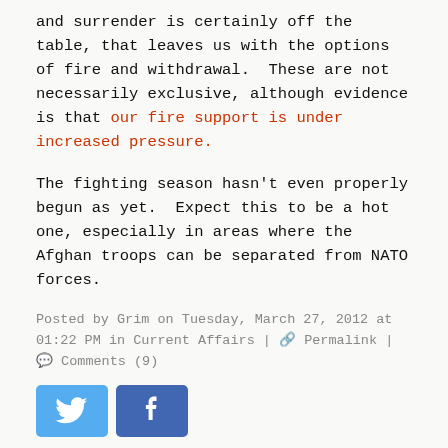and surrender is certainly off the table, that leaves us with the options of fire and withdrawal. These are not necessarily exclusive, although evidence is that our fire support is under increased pressure.
The fighting season hasn't even properly begun as yet. Expect this to be a hot one, especially in areas where the Afghan troops can be separated from NATO forces.
Posted by Grim on Tuesday, March 27, 2012 at 01:22 PM in Current Affairs | 🔗 Permalink | 💬 Comments (9)
[Figure (other): Twitter and Facebook share buttons]